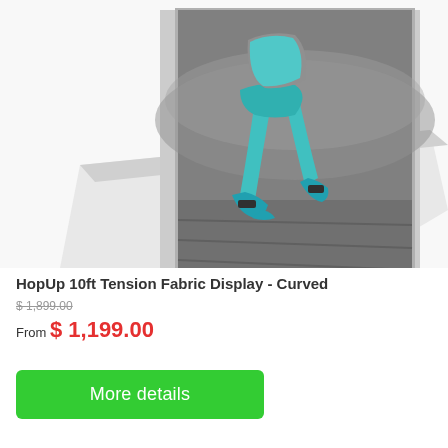[Figure (photo): A curved tension fabric display banner showing a runner with teal/cyan athletic gear on a grayscale background, displayed at an angle on a reflective white surface.]
HopUp 10ft Tension Fabric Display - Curved
$ 1,899.00 (strikethrough original price)
From $ 1,199.00
More details